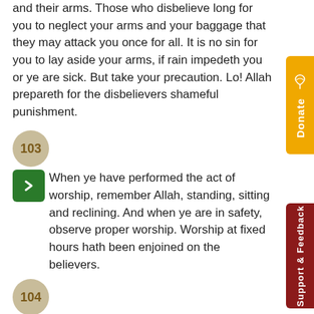and their arms. Those who disbelieve long for you to neglect your arms and your baggage that they may attack you once for all. It is no sin for you to lay aside your arms, if rain impedeth you or ye are sick. But take your precaution. Lo! Allah prepareth for the disbelievers shameful punishment.
103
When ye have performed the act of worship, remember Allah, standing, sitting and reclining. And when ye are in safety, observe proper worship. Worship at fixed hours hath been enjoined on the believers.
104
Relent not in pursuit of the enemy. If ye are suffering, lo! they suffer even as ye suffer and ye hope from Allah that for which they cannot hope. Allah is ever Knower, Wise.